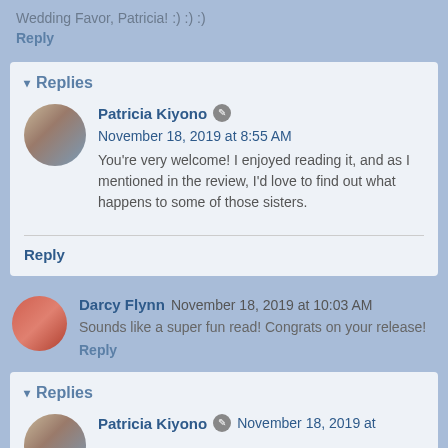Wedding Favor, Patricia! :) :) :)
Reply
▾ Replies
Patricia Kiyono  November 18, 2019 at 8:55 AM
You're very welcome! I enjoyed reading it, and as I mentioned in the review, I'd love to find out what happens to some of those sisters.
Reply
Darcy Flynn  November 18, 2019 at 10:03 AM
Sounds like a super fun read! Congrats on your release!
Reply
▾ Replies
Patricia Kiyono  November 18, 2019 at